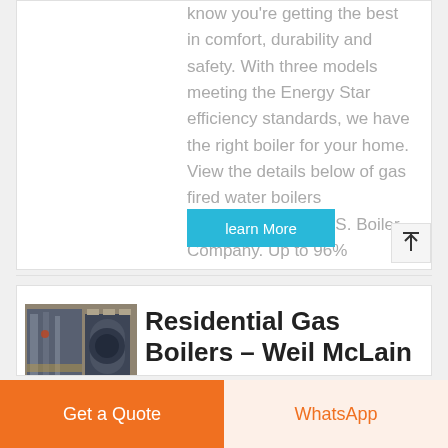know you're getting the best in comfort, durability and safety. With three models meeting the Energy Star efficiency standards, we have the right boiler for your home. View the details below of gas fired water boilers manufactured by U.S. Boiler Company. Up to 96%
learn More
[Figure (photo): Industrial gas boiler equipment in a facility setting]
Residential Gas Boilers – Weil McLain
Get a Quote
WhatsApp